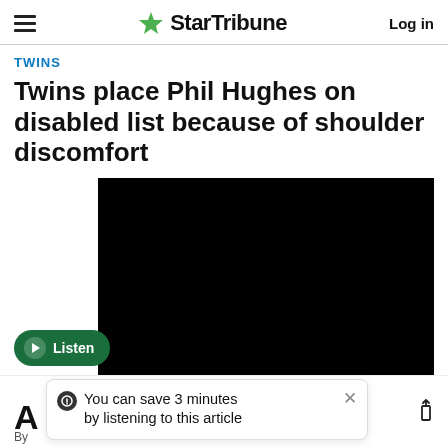StarTribune — Log in
TWINS
Twins place Phil Hughes on disabled list because of shoulder discomfort
[Figure (photo): Black video player rectangle with Listen button overlay]
You can save 3 minutes by listening to this article